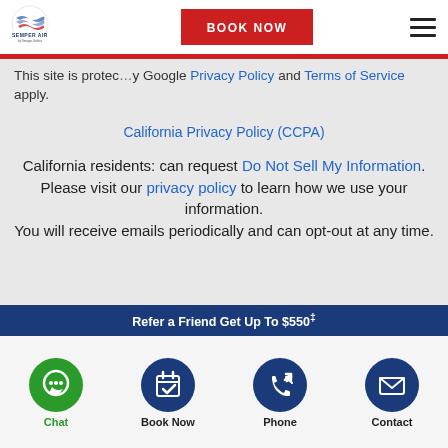[Figure (logo): Semper Air logo with circular emblem and text]
BOOK NOW
This site is protected by Google Privacy Policy and Terms of Service apply.
California Privacy Policy (CCPA)
California residents: can request Do Not Sell My Information. Please visit our privacy policy to learn how we use your information. You will receive emails periodically and can opt-out at any time.
Refer a Friend Get Up To $550‡
[Figure (infographic): Four action buttons: Chat (green circle with chat bubble), Book Now (dark blue circle with calendar), Phone (dark blue circle with phone), Contact (dark blue circle with envelope)]